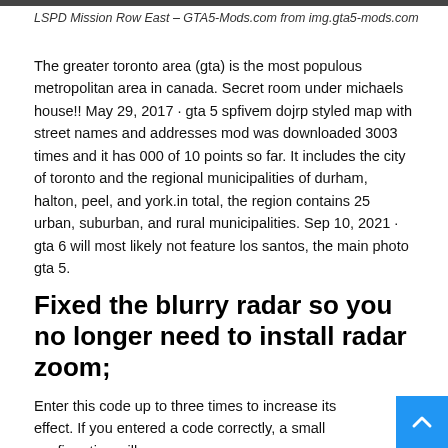[Figure (photo): Top image strip partially visible at the top of the page]
LSPD Mission Row East – GTA5-Mods.com from img.gta5-mods.com
The greater toronto area (gta) is the most populous metropolitan area in canada. Secret room under michaels house!! May 29, 2017 · gta 5 spfivem dojrp styled map with street names and addresses mod was downloaded 3003 times and it has 000 of 10 points so far. It includes the city of toronto and the regional municipalities of durham, halton, peel, and york.in total, the region contains 25 urban, suburban, and rural municipalities. Sep 10, 2021 · gta 6 will most likely not feature los santos, the main photo gta 5.
Fixed the blurry radar so you no longer need to install radar zoom;
Enter this code up to three times to increase its effect. If you entered a code correctly, a small confirmation will appear